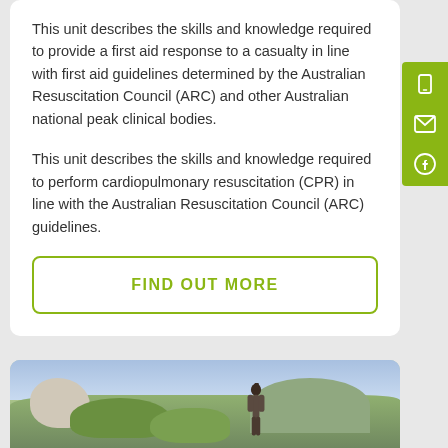This unit describes the skills and knowledge required to provide a first aid response to a casualty in line with first aid guidelines determined by the Australian Resuscitation Council (ARC) and other Australian national peak clinical bodies.
This unit describes the skills and knowledge required to perform cardiopulmonary resuscitation (CPR) in line with the Australian Resuscitation Council (ARC) guidelines.
FIND OUT MORE
[Figure (photo): Outdoor landscape photo showing a person with a ponytail from behind, with rocky mountain scenery and green shrubbery in the background under a blue sky.]